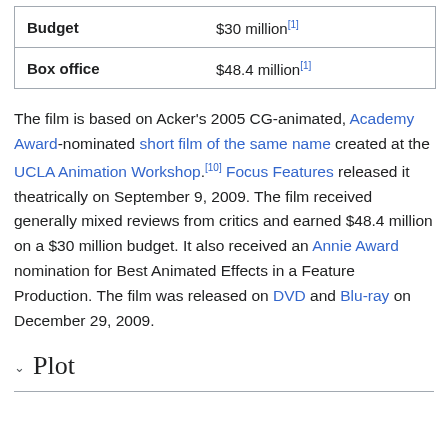| Budget | $30 million[1] |
| Box office | $48.4 million[1] |
The film is based on Acker's 2005 CG-animated, Academy Award-nominated short film of the same name created at the UCLA Animation Workshop.[10] Focus Features released it theatrically on September 9, 2009. The film received generally mixed reviews from critics and earned $48.4 million on a $30 million budget. It also received an Annie Award nomination for Best Animated Effects in a Feature Production. The film was released on DVD and Blu-ray on December 29, 2009.
Plot